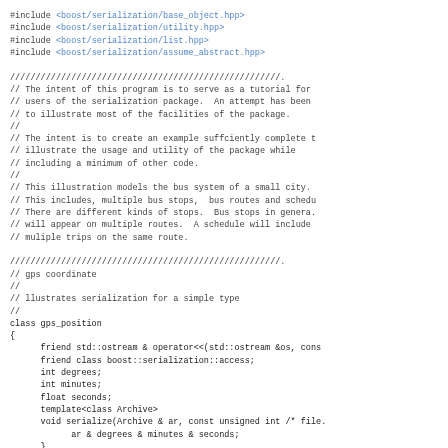#include <boost/serialization/base_object.hpp>
#include <boost/serialization/utility.hpp>
#include <boost/serialization/list.hpp>
#include <boost/serialization/assume_abstract.hpp>

////////////////////////////////////////////////////
// The intent of this program is to serve as a tutorial for
// users of the serialization package.  An attempt has been
// to illustrate most of the facilities of the package.
//
// The intent is to create an example suffciently complete t
// illustrate the usage and utility of the package while
// including a minimum of other code.
//
// This illustration models the bus system of a small city.
// This includes, multiple bus stops,  bus routes and sched
// There are different kinds of stops.  Bus stops in genera
// will appear on multiple routes.  A schedule will include
// muliple trips on the same route.

////////////////////////////////////////////////////
// gps coordinate
//
// llustrates serialization for a simple type
//
class gps_position
{
      friend std::ostream & operator<<(std::ostream &os, cons
      friend class boost::serialization::access;
      int degrees;
      int minutes;
      float seconds;
      template<class Archive>
      void serialize(Archive & ar, const unsigned int /* file
            ar & degrees & minutes & seconds;
      }
   };